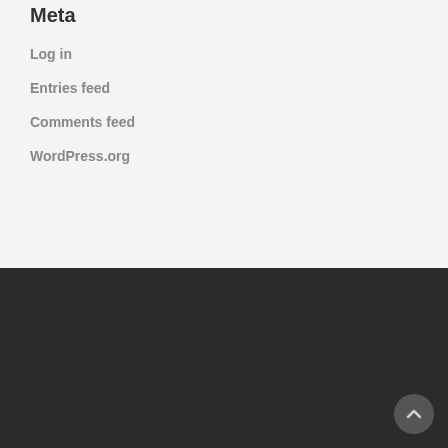Meta
Log in
Entries feed
Comments feed
WordPress.org
© 2022 Dr Mark R Johnson All Rights Reserved. Designed by NERDcloud